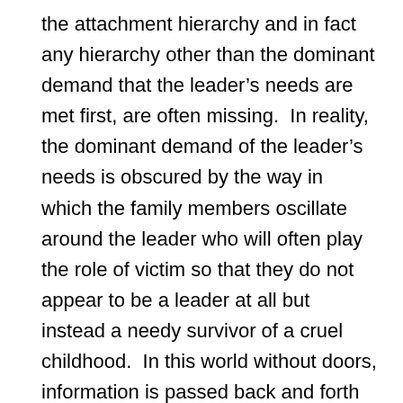the attachment hierarchy and in fact any hierarchy other than the dominant demand that the leader's needs are met first, are often missing.  In reality, the dominant demand of the leader's needs is obscured by the way in which the family members oscillate around the leader who will often play the role of victim so that they do not appear to be a leader at all but instead a needy survivor of a cruel childhood.  In this world without doors, information is passed back and forth about all manner of things which would not normally be shared across the generational lines. Thus children will simply know too much but will feel that in knowing that they belong and will thus enjoy the feeling of inclusion this brings. This world without doors, in which children are party to the doings of others, including those whose